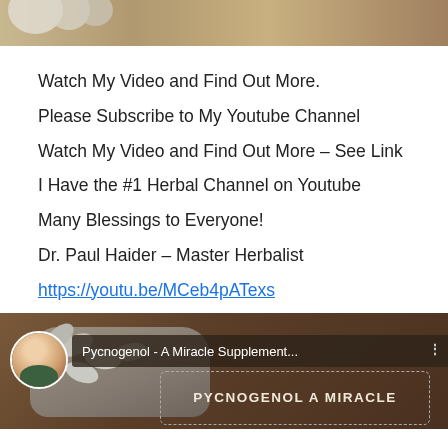[Figure (photo): Partial photo at top showing herbs/pills on wooden surface]
Watch My Video and Find Out More.
Please Subscribe to My Youtube Channel
Watch My Video and Find Out More – See Link
I Have the #1 Herbal Channel on Youtube
Many Blessings to Everyone!
Dr. Paul Haider – Master Herbalist
https://youtu.be/MCeb4pATexs
[Figure (screenshot): YouTube video thumbnail showing Pycnogenol - A Miracle Supplement with avatar of Dr. Paul Haider and text overlay]